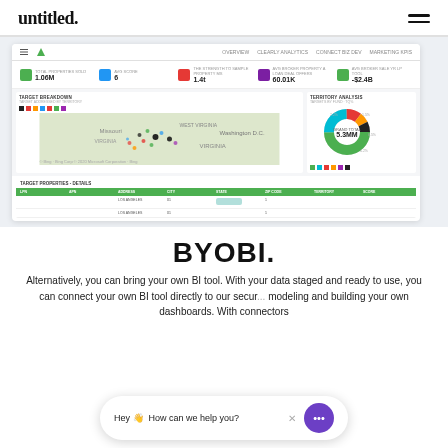untitled.
[Figure (screenshot): Dashboard screenshot showing a BI analytics tool with metrics (1.06M, 6, 1.4t, 60.01K, -$2.4B), a target breakdown map of the eastern US, a territory analysis donut chart, and a target properties details table with green header]
BYOBI.
Alternatively, you can bring your own BI tool. With your data staged and ready to use, you can connect your own BI tool directly to our secur... modeling and building your own dashboards. With connectors